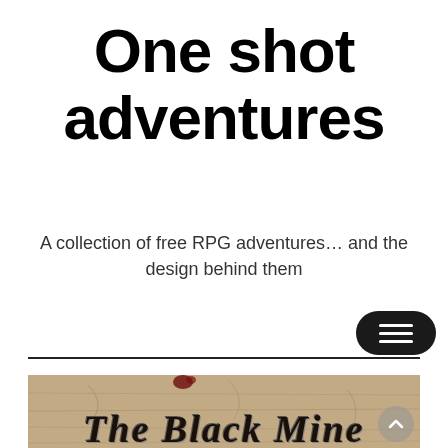One shot adventures
A collection of free RPG adventures… and the design behind them
[Figure (illustration): Dark rounded rectangle hamburger/menu button with three white horizontal lines, navigation element]
[Figure (photo): Weathered wooden plank background with blood stain and text reading 'The Black Mine' in decorative serif font]